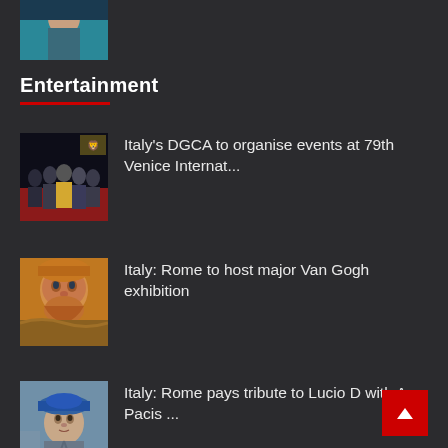[Figure (photo): Partial top image showing a person, cropped at top of page]
Entertainment
[Figure (photo): Photo of people at Venice Film Festival on red carpet]
Italy's DGCA to organise events at 79th Venice Internat...
[Figure (photo): Van Gogh self-portrait painting]
Italy: Rome to host major Van Gogh exhibition
[Figure (photo): Man wearing blue hat]
Italy: Rome pays tribute to Lucio D with Ara Pacis ...